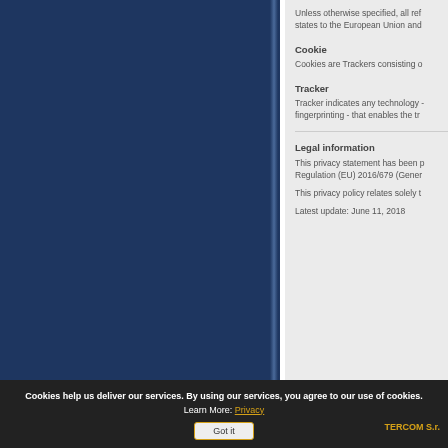Unless otherwise specified, all references to member states to the European Union and
Cookie
Cookies are Trackers consisting o
Tracker
Tracker indicates any technology - fingerprinting - that enables the tr
Legal information
This privacy statement has been p Regulation (EU) 2016/679 (Gener
This privacy policy relates solely t
Latest update: June 11, 2018
Cookies help us deliver our services. By using our services, you agree to our use of cookies. Learn More: Privacy
Got it